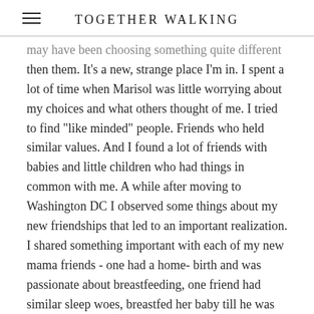TOGETHER WALKING
may have been choosing something quite different then them. It's a new, strange place I'm in. I spent a lot of time when Marisol was little worrying about my choices and what others thought of me. I tried to find "like minded" people. Friends who held similar values. And I found a lot of friends with babies and little children who had things in common with me. A while after moving to Washington DC I observed some things about my new friendships that led to an important realization. I shared something important with each of my new mama friends - one had a home-birth and was passionate about breastfeeding, one friend had similar sleep woes, breastfed her baby till he was over 2 years old, and held similar ways of dealing with toddler behavior, a third friend wanted to do things in an attachment parenting type way, but her children were much closer in age than mine and she struggled with sleep. The third friend was also very